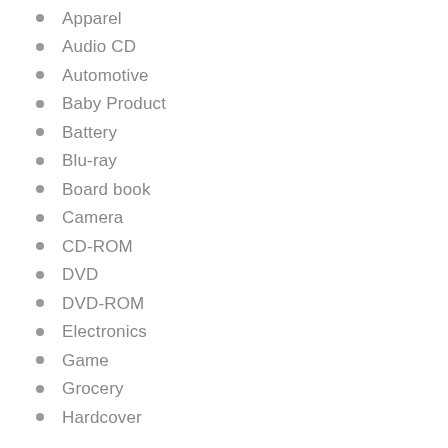Apparel
Audio CD
Automotive
Baby Product
Battery
Blu-ray
Board book
Camera
CD-ROM
DVD
DVD-ROM
Electronics
Game
Grocery
Hardcover